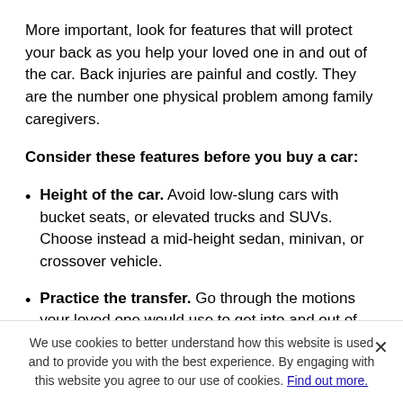More important, look for features that will protect your back as you help your loved one in and out of the car. Back injuries are painful and costly. They are the number one physical problem among family caregivers.
Consider these features before you buy a car:
Height of the car. Avoid low-slung cars with bucket seats, or elevated trucks and SUVs. Choose instead a mid-height sedan, minivan, or crossover vehicle.
Practice the transfer. Go through the motions your loved one would use to get into and out of the car. Is there something to hang onto in both directions (handle over the door, handle of the do[or…]
Electric seats are a plus. You may have to adjust seat posi[tion…] relative gets [in the car…]
We use cookies to better understand how this website is used and to provide you with the best experience. By engaging with this website you agree to our use of cookies. Find out more.